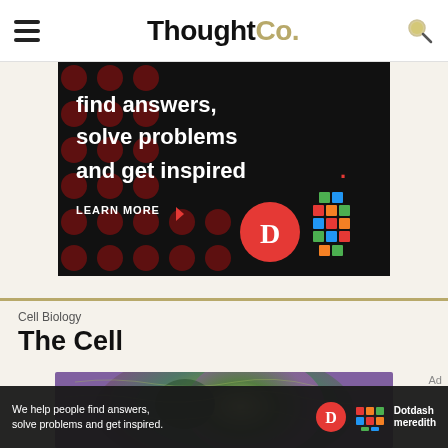ThoughtCo.
[Figure (screenshot): Advertisement banner with dark background and red dot pattern. Text reads: 'find answers, solve problems and get inspired.' with 'LEARN MORE' button and Dotdash and Meredith logos.]
Cell Biology
The Cell
[Figure (photo): Microscope image of a cell with green and purple tones]
Ad
[Figure (screenshot): Bottom ad bar: 'We help people find answers, solve problems and get inspired.' with Dotdash Meredith logo]